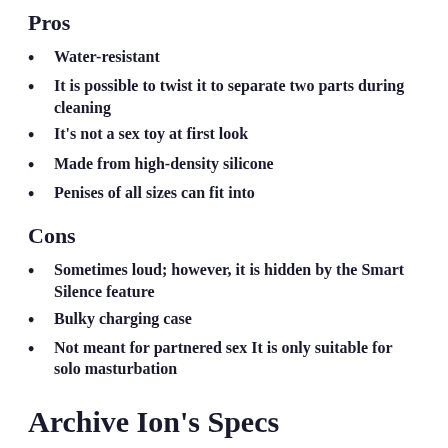Pros
Water-resistant
It is possible to twist it to separate two parts during cleaning
It's not a sex toy at first look
Made from high-density silicone
Penises of all sizes can fit into
Cons
Sometimes loud; however, it is hidden by the Smart Silence feature
Bulky charging case
Not meant for partnered sex It is only suitable for solo masturbation
Archive Ion's Specs
Most sex toys never discuss the specifications. Why? Because the